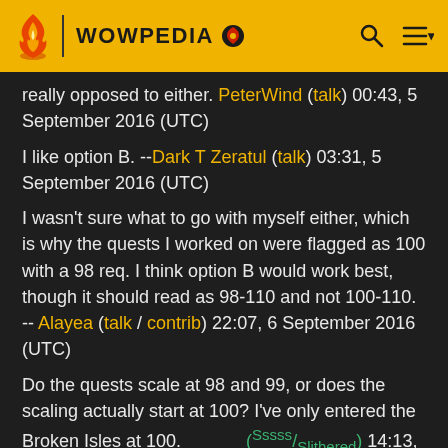WOWPEDIA
really opposed to either. PeterWind (talk) 00:43, 5 September 2016 (UTC)
I like option B. --Dark T Zeratul (talk) 03:31, 5 September 2016 (UTC)
I wasn't sure what to go with myself either, which is why the quests I worked on were flagged as 100 with a 98 req. I think option B would work best, though it should read as 98-110 and not 100-110. -- Alayea (talk / contrib) 22:07, 6 September 2016 (UTC)
Do the quests scale at 98 and 99, or does the scaling actually start at 100? I've only entered the Broken Isles at 100. (Sssss/Slithered) 14:13, 7 September 2016 (UTC)
Good point. I don't have any sub-100 characters that are